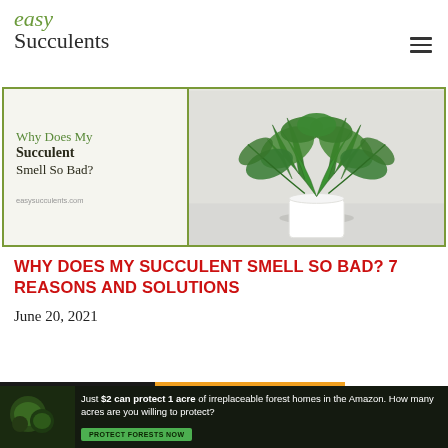easy Succulents
[Figure (illustration): Hero image for article 'Why Does My Succulent Smell So Bad?' with green fern plant in white pot on right, text overlay on left with site URL easysucculents.com]
WHY DOES MY SUCCULENT SMELL SO BAD? 7 REASONS AND SOLUTIONS
June 20, 2021
[Figure (photo): Advertisement banner: Just $2 can protect 1 acre of irreplaceable forest homes in the Amazon. How many acres are you willing to protect? PROTECT FORESTS NOW]